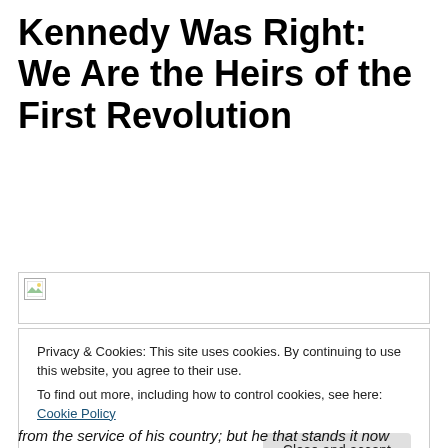Kennedy Was Right: We Are the Heirs of the First Revolution
[Figure (photo): Broken image placeholder with small icon in top-left corner and border]
Privacy & Cookies: This site uses cookies. By continuing to use this website, you agree to their use.
To find out more, including how to control cookies, see here: Cookie Policy
Close and accept
from the service of his country; but he that stands it now